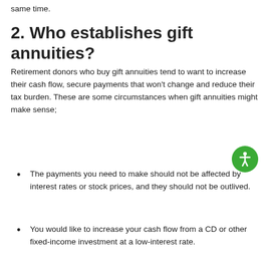same time.
2. Who establishes gift annuities?
Retirement donors who buy gift annuities tend to want to increase their cash flow, secure payments that won't change and reduce their tax burden. These are some circumstances when gift annuities might make sense;
The payments you need to make should not be affected by interest rates or stock prices, and they should not be outlived.
You would like to increase your cash flow from a CD or other fixed-income investment at a low-interest rate.